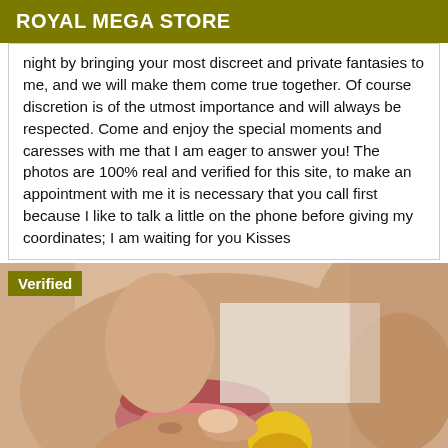ROYAL MEGA STORE
night by bringing your most discreet and private fantasies to me, and we will make them come true together. Of course discretion is of the utmost importance and will always be respected. Come and enjoy the special moments and caresses with me that I am eager to answer you! The photos are 100% real and verified for this site, to make an appointment with me it is necessary that you call first because I like to talk a little on the phone before giving my coordinates; I am waiting for you Kisses
[Figure (photo): Close-up photo of lips and face near a small yellow and blue candy/object, with a 'Verified' badge overlay in olive/dark yellow color in the top-left corner.]